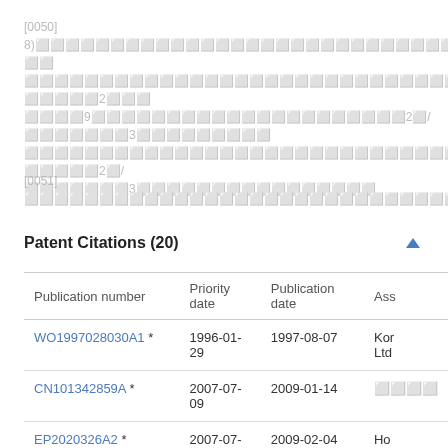[0050] 8)⬜⬜⬜⬜⬜⬜⬜⬜⬜⬜⬜⬜⬜⬜⬜⬜⬜⬜⬜⬜⬜⬜⬜⬜⬜⬜⬜⬜⬜⬜⬜6⬜/⬜⬜⬜⬜⬜⬜⬜⬜⬜⬜⬜⬜⬜⬜⬜⬜⬜⬜⬜⬜⬜⬜⬜⬜⬜⬜⬜⬜⬜⬜⬜3⬜/⬜⬜⬜⬜⬜2⬜⬜⬜⬜⬜⬜⬜⬜9⬜⬜⬜⬜⬜⬜⬜⬜⬜⬜⬜⬜⬜⬜⬜⬜⬜⬜⬜⬜⬜2⬜/⬜⬜⬜⬜⬜⬜⬜3⬜⬜⬜⬜⬜⬜⬜⬜⬜⬜⬜⬜⬜⬜⬜⬜⬜⬜⬜⬜⬜⬜⬜⬜⬜⬜⬜⬜⬜⬜⬜⬜⬜⬜⬜⬜⬜⬜⬜⬜⬜⬜⬜⬜⬜⬜⬜⬜2⬜/⬜⬜⬜⬜⬜⬜⬜3⬜⬜⬜⬜⬜⬜⬜⬜⬜⬜⬜⬜⬜⬜⬜
[0051] ⬜⬜⬜⬜⬜⬜⬜⬜⬜⬜⬜⬜⬜⬜⬜⬜⬜⬜⬜⬜⬜⬜⬜⬜⬜⬜⬜⬜⬜⬜⬜⬜⬜⬜⬜⬜⬜⬜⬜⬜⬜⬜⬜⬜⬜⬜⬜⬜⬜⬜⬜⬜⬜⬜⬜⬜⬜⬜⬜⬜⬜⬜⬜⬜⬜⬜⬜⬜⬜⬜⬜⬜⬜⬜⬜⬜⬜⬜⬜⬜⬜⬜⬜⬜⬜⬜⬜⬜⬜⬜⬜⬜⬜
Patent Citations (20)
| Publication number | Priority date | Publication date | Ass |
| --- | --- | --- | --- |
| WO1997028030A1 * | 1996-01-29 | 1997-08-07 | Kor Ltd |
| CN101342859A * | 2007-07-09 | 2009-01-14 | ⬜⬜⬜⬜ |
| EP2020326A2 * | 2007-07-30 | 2009-02-04 | Ho Mo Co. |